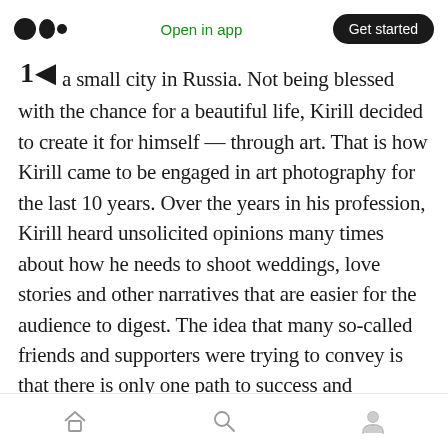Medium logo | Open in app | Get started
a small city in Russia. Not being blessed with the chance for a beautiful life, Kirill decided to create it for himself — through art. That is how Kirill came to be engaged in art photography for the last 10 years. Over the years in his profession, Kirill heard unsolicited opinions many times about how he needs to shoot weddings, love stories and other narratives that are easier for the audience to digest. The idea that many so-called friends and supporters were trying to convey is that there is only one path to success and acknowledgment — and that is doing something that your audience expects from you
Home | Search | Profile